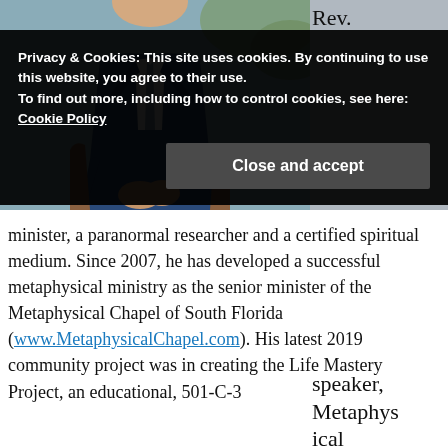[Figure (photo): Photo of a man in a blue suit, seated, visible from torso down to hands, with blurred outdoor background.]
Rev.
speaker, Metaphysical minister, a paranormal researcher and a certified spiritual medium. Since 2007, he has developed a successful metaphysical ministry as the senior minister of the Metaphysical Chapel of South Florida (www.MetaphysicalChapel.com). His latest 2019 community project was in creating the Life Mastery Project, an educational, 501-C-3
Privacy & Cookies: This site uses cookies. By continuing to use this website, you agree to their use.
To find out more, including how to control cookies, see here:
Cookie Policy
Close and accept